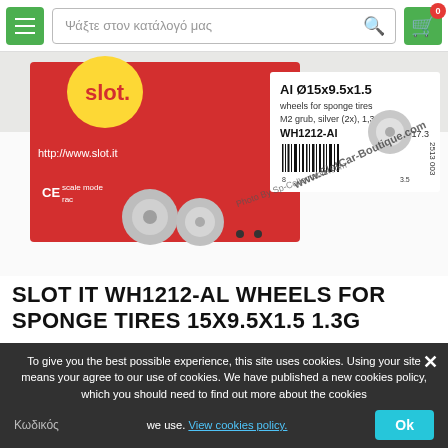Ψάξτε στον κατάλογό μας
[Figure (photo): Photo of Slot.it WH1212-Al aluminum wheels for sponge tires, showing small silver alloy wheels next to red product packaging. Package label reads: Al Ø15x9.5x1.5, wheels for sponge tires, M2 grub, silver (2x), 1,3g, WH1212-AI Eq. ø17.3. Watermark: www.SlotCar-Boutique.com]
SLOT IT WH1212-AL WHEELS FOR SPONGE TIRES 15X9.5X1.5 1.3G
To give you the best possible experience, this site uses cookies. Using your site means your agree to our use of cookies. We have published a new cookies policy, which you should need to find out more about the cookies we use. View cookies policy.
Κωδικός